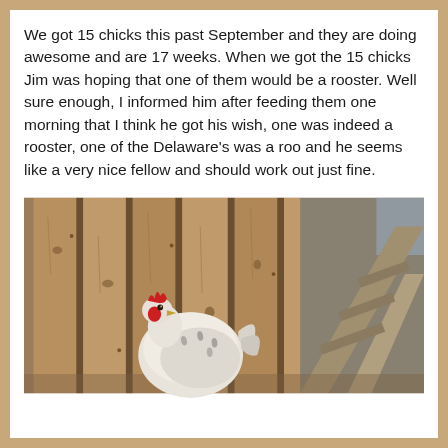We got 15 chicks this past September and they are doing awesome and are 17 weeks. When we got the 15 chicks Jim was hoping that one of them would be a rooster. Well sure enough, I informed him after feeding them one morning that I think he got his wish, one was indeed a rooster, one of the Delaware's was a roo and he seems like a very nice fellow and should work out just fine.
[Figure (photo): A white/light-colored rooster standing near a wooden fence made of vertical planks, with a wooden ladder or ramp structure visible on the right side. The bird has a red comb and is facing left.]